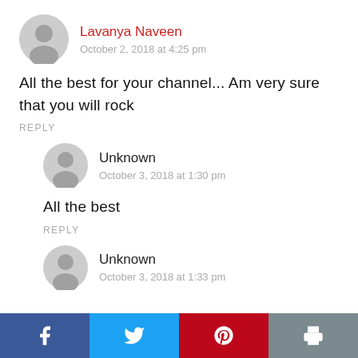Lavanya Naveen
October 2, 2018 at 4:25 pm
All the best for your channel... Am very sure that you will rock
REPLY
Unknown
October 3, 2018 at 1:30 pm
All the best
REPLY
Unknown
October 3, 2018 at 1:33 pm